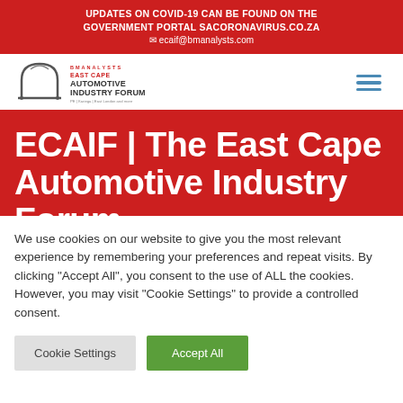UPDATES ON COVID-19 CAN BE FOUND ON THE GOVERNMENT PORTAL SACORONAVIRUS.CO.ZA ✉ ecaif@bmanalysts.com
[Figure (logo): East Cape Automotive Industry Forum logo with arc/arch graphic]
ECAIF | The East Cape Automotive Industry Forum
We use cookies on our website to give you the most relevant experience by remembering your preferences and repeat visits. By clicking "Accept All", you consent to the use of ALL the cookies. However, you may visit "Cookie Settings" to provide a controlled consent.
Cookie Settings
Accept All